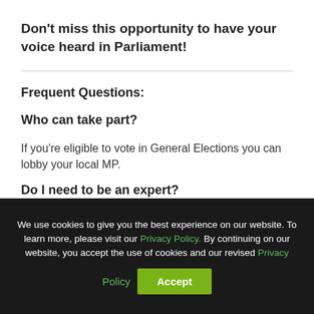Don't miss this opportunity to have your voice heard in Parliament!
Frequent Questions:
Who can take part?
If you're eligible to vote in General Elections you can lobby your local MP.
Do I need to be an expert?
We use cookies to give you the best experience on our website. To learn more, please visit our Privacy Policy. By continuing on our website, you accept the use of cookies and our revised Privacy Policy
Accept